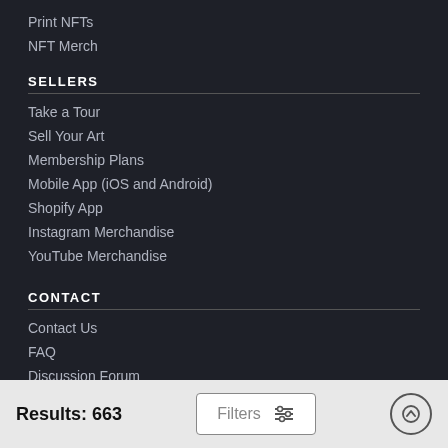Print NFTs
NFT Merch
SELLERS
Take a Tour
Sell Your Art
Membership Plans
Mobile App (iOS and Android)
Shopify App
Instagram Merchandise
YouTube Merchandise
CONTACT
Contact Us
FAQ
Discussion Forum
Results: 663  Filters